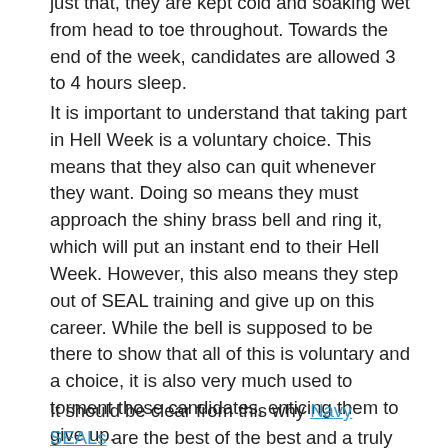just that, they are kept cold and soaking wet from head to toe throughout. Towards the end of the week, candidates are allowed 3 to 4 hours sleep.
It is important to understand that taking part in Hell Week is a voluntary choice. This means that they also can quit whenever they want. Doing so means they must approach the shiny brass bell and ring it, which will put an instant end to their Hell Week. However, this also means they step out of SEAL training and give up on this career. While the bell is supposed to be there to show that all of this is voluntary and a choice, it is also very much used to torment those candidates, enticing them to give up.
It should be clear from this why Navy SEALs are the best of the best and a truly elite force. The